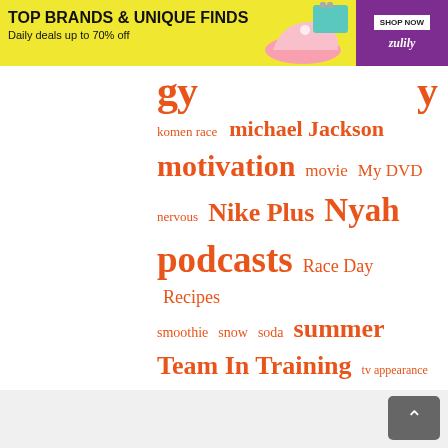[Figure (screenshot): Zulily advertisement banner: TOP BRANDS & UNIQUE FINDS, Daily deals up to 70% off, with shoe and purse images, SHOP NOW button, purple background with zulily branding]
[Figure (other): Tag cloud with orange text tags of varying sizes: komen race, michael Jackson, motivation, movie, My DVD, nervous, Nike Plus, Nyah, podcasts, Race Day, Recipes, smoothie, snow, soda, summer, Team In Training, tv appearance, Vacation, Video, Walking at Work, Weigh-In, weight loss, work, Workout Buddy, Yoga]